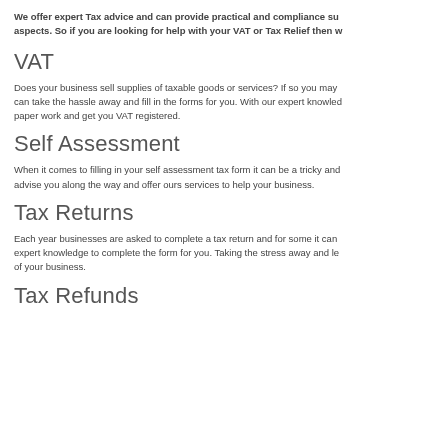We offer expert Tax advice and can provide practical and compliance su... aspects. So if you are looking for help with your VAT or Tax Relief then w...
VAT
Does your business sell supplies of taxable goods or services? If so you may can take the hassle away and fill in the forms for you. With our expert knowled paper work and get you VAT registered.
Self Assessment
When it comes to filling in your self assessment tax form it can be a tricky and advise you along the way and offer ours services to help your business.
Tax Returns
Each year businesses are asked to complete a tax return and for some it can expert knowledge to complete the form for you. Taking the stress away and le of your business.
Tax Refunds